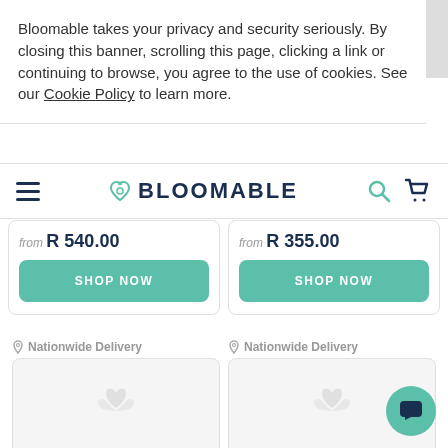Bloomable takes your privacy and security seriously. By closing this banner, scrolling this page, clicking a link or continuing to browse, you agree to the use of cookies. See our Cookie Policy to learn more.
BLOOMABLE
from R 540.00
SHOP NOW
from R 355.00
SHOP NOW
Nationwide Delivery
[Figure (photo): Product placeholder image - flower arrangement]
Nationwide Delivery
[Figure (photo): Product placeholder image - flower arrangement]